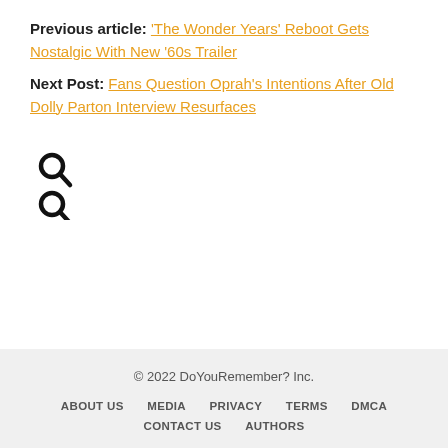Previous article: 'The Wonder Years' Reboot Gets Nostalgic With New '60s Trailer
Next Post: Fans Question Oprah's Intentions After Old Dolly Parton Interview Resurfaces
[Figure (other): Two search magnifying glass icons stacked vertically]
© 2022 DoYouRemember? Inc. ABOUT US  MEDIA  PRIVACY  TERMS  DMCA  CONTACT US  AUTHORS